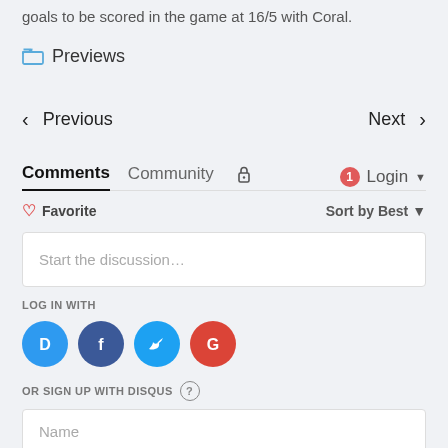goals to be scored in the game at 16/5 with Coral.
Previews
< Previous    Next >
Comments  Community  Login
Favorite    Sort by Best
Start the discussion...
LOG IN WITH
[Figure (logo): Social login icons: Disqus (blue), Facebook (dark blue), Twitter (light blue), Google (red)]
OR SIGN UP WITH DISQUS
Name